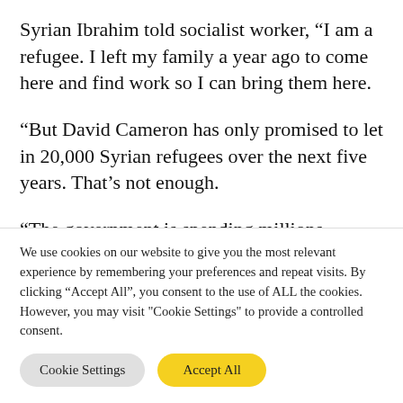Syrian Ibrahim told socialist worker, “I am a refugee. I left my family a year ago to come here and find work so I can bring them here.
“But David Cameron has only promised to let in 20,000 Syrian refugees over the next five years. That’s not enough.
“The government is spending millions bombing Syria. Syrians just want to live. to
We use cookies on our website to give you the most relevant experience by remembering your preferences and repeat visits. By clicking “Accept All”, you consent to the use of ALL the cookies. However, you may visit "Cookie Settings" to provide a controlled consent.